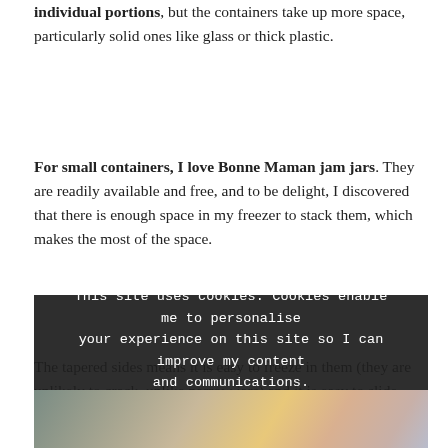individual portions, but the containers take up more space, particularly solid ones like glass or thick plastic.
For small containers, I love Bonne Maman jam jars. They are readily available and free, and to be delight, I discovered that there is enough space in my freezer to stack them, which makes the most of the space.
The tapered sides means it is easy to freeze in them (they are unlikely to crack, unlike narrow jars) and it is easy to slide still-frozen leftovers out to reheat in a saucepan.
This site uses cookies. Cookies enable me to personalise your experience on this site so I can improve my content and communications.
I'm okay with that
[Figure (photo): A photo strip showing frozen food items in jars, including what appears to be yellow and pink/rose colored frozen portions.]